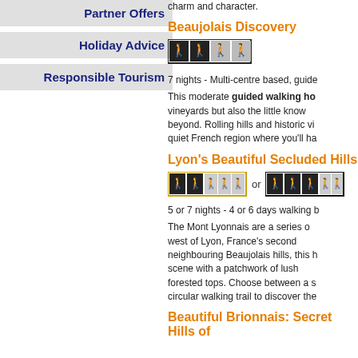Partner Offers
Holiday Advice
Responsible Tourism
charm and character.
Beaujolais Discovery
[Figure (infographic): Difficulty rating: 2 dark walker icons and 2 light grey walker icons in a black-bordered row]
7 nights - Multi-centre based, guide
This moderate guided walking ho... vineyards but also the little know... beyond. Rolling hills and historic vi... quiet French region where you'll ha...
Lyon's Beautiful Secluded Hills
[Figure (infographic): Two difficulty rating groups: first with yellow border (2 dark + 3 light), second with black border (3 dark + 2 light), separated by 'or']
5 or 7 nights - 4 or 6 days walking b
The Mont Lyonnais are a series o... west of Lyon, France's second... neighbouring Beaujolais hills, this h... scene with a patchwork of lush... forested tops. Choose between a s... circular walking trail to discover the...
Beautiful Brionnais: Secret Hills of